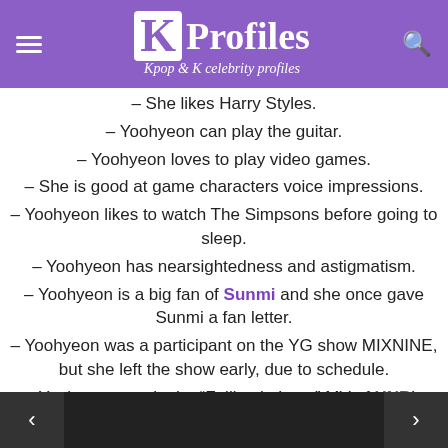KProfiles – Kpop & K celebrity profiles
– She likes Harry Styles.
– Yoohyeon can play the guitar.
– Yoohyeon loves to play video games.
– She is good at game characters voice impressions.
– Yoohyeon likes to watch The Simpsons before going to sleep.
– Yoohyeon has nearsightedness and astigmatism.
– Yoohyeon is a big fan of Sunmi and she once gave Sunmi a fan letter.
– Yoohyeon was a participant on the YG show MIXNINE, but she left the show early, due to schedule.
– Yoohyeon was in the “Falling in Love” MV of HNB’s Hyunsoo and Jinyoung.
– Yoohyeon and SuA share a room in the dorm.
– Yoohyeon’s ideal type: Someone with a narrow face and